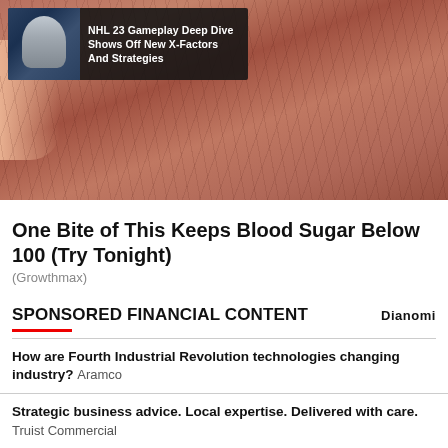[Figure (photo): Close-up photo of dark reddish-brown veiny textured food item held in a hand, with an overlaid NHL 23 game article card showing a hockey player and text 'NHL 23 Gameplay Deep Dive Shows Off New X-Factors And Strategies']
One Bite of This Keeps Blood Sugar Below 100 (Try Tonight)
(Growthmax)
SPONSORED FINANCIAL CONTENT
How are Fourth Industrial Revolution technologies changing industry? Aramco
Strategic business advice. Local expertise. Delivered with care. Truist Commercial
New EV Set to Disrupt Entire Industry Empire Financial Research
4 Things You Can Spend Money on That Will Actually Make